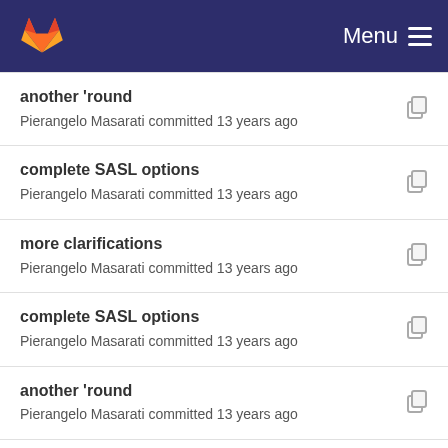Menu
another 'round
Pierangelo Masarati committed 13 years ago
complete SASL options
Pierangelo Masarati committed 13 years ago
more clarifications
Pierangelo Masarati committed 13 years ago
complete SASL options
Pierangelo Masarati committed 13 years ago
another 'round
Pierangelo Masarati committed 13 years ago
complete SASL options
Pierangelo Masarati committed 13 years ago